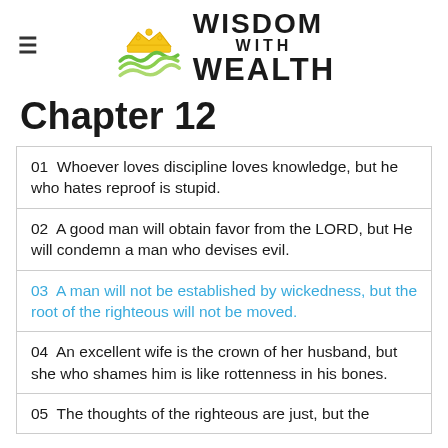Wisdom With Wealth
Chapter 12
| 01  Whoever loves discipline loves knowledge, but he who hates reproof is stupid. |
| 02  A good man will obtain favor from the LORD, but He will condemn a man who devises evil. |
| 03  A man will not be established by wickedness, but the root of the righteous will not be moved. |
| 04  An excellent wife is the crown of her husband, but she who shames him is like rottenness in his bones. |
| 05  The thoughts of the righteous are just, but the counsels of the wicked are deceitful. |